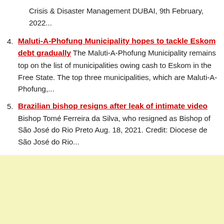Crisis & Disaster Management DUBAI, 9th February, 2022...
4. Maluti-A-Phofung Municipality hopes to tackle Eskom debt gradually The Maluti-A-Phofung Municipality remains top on the list of municipalities owing cash to Eskom in the Free State. The top three municipalities, which are Maluti-A-Phofung,...
5. Brazilian bishop resigns after leak of intimate video Bishop Tomé Ferreira da Silva, who resigned as Bishop of São José do Rio Preto Aug. 18, 2021. Credit: Diocese de São José do Rio...
6. Arab-Brazilian Chamber of Commerce to host 'Brazil – UAE: Economic Sustainability Forum in
[Figure (other): Yellow/cream colored advertisement banner area at the bottom of the page]